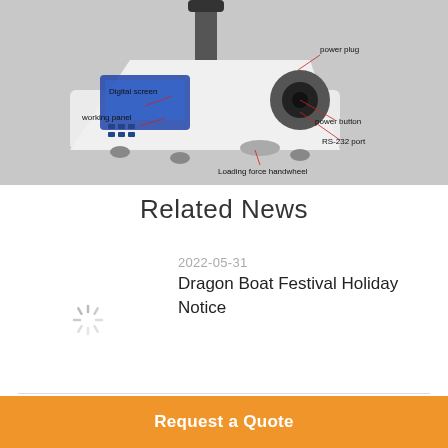[Figure (photo): A white digital hardness testing device (Vickers/Brinell tester) with labeled parts: Digital screen, working panel, power plug, RS-232 port, power button, Loading force handwheel]
Related News
2022-05-31
[Figure (photo): Loading spinner icon (thumbnail placeholder for news article)]
Dragon Boat Festival Holiday Notice
2022-04-27
Request a Quote